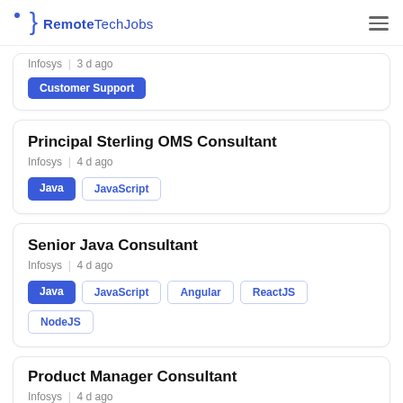RemoteTechJobs
Infosys | 3 d ago
Customer Support
Principal Sterling OMS Consultant
Infosys | 4 d ago
Java, JavaScript
Senior Java Consultant
Infosys | 4 d ago
Java, JavaScript, Angular, ReactJS, NodeJS
Product Manager Consultant
Infosys | 4 d ago